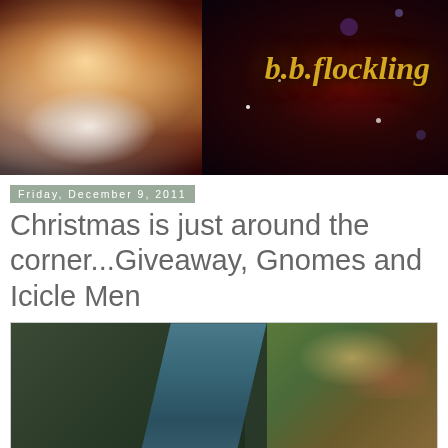[Figure (photo): Blog header banner image with a fairy doll with red hair and flowers, dark red/purple background with stars and bokeh, gold cursive text reading 'b.b.flockling' on the right side]
Friday, December 9, 2011
Christmas is just around the corner...Giveaway, Gnomes and Icicle Men
[Figure (photo): Partial view of a fantasy doll or figure wearing teal/blue dress, against a blurred floral painting background in greens and warm tones]